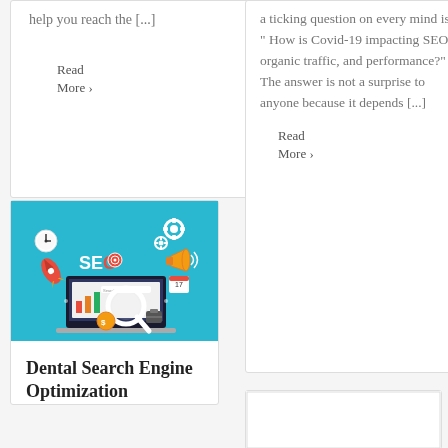help you reach the [...]
Read More ›
[Figure (illustration): SEO themed illustration on teal/cyan background showing a laptop with magnifying glass, SEO text, rocket, gears, clock, megaphone, and other digital marketing icons]
Dental Search Engine Optimization
a ticking question on every mind is, " How is Covid-19 impacting SEO, organic traffic, and performance?" The answer is not a surprise to anyone because it depends [...]
Read More ›